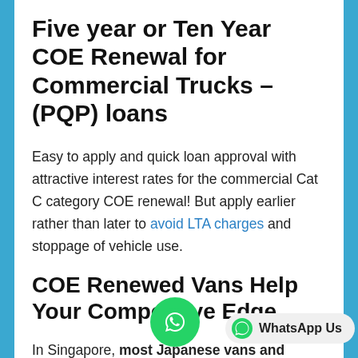Five year or Ten Year COE Renewal for Commercial Trucks – (PQP) loans
Easy to apply and quick loan approval with attractive interest rates for the commercial Cat C category COE renewal! But apply earlier rather than later to avoid LTA charges and stoppage of vehicle use.
COE Renewed Vans Help Your Competitive Edge
In Singapore, most Japanese vans and trucks are renewed when they come to ten